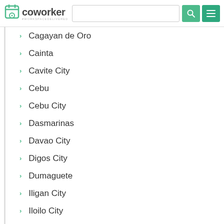Coworker — #WORKSPACEDELIVERED — search bar and navigation
Cagayan de Oro
Cainta
Cavite City
Cebu
Cebu City
Dasmarinas
Davao City
Digos City
Dumaguete
Iligan City
Iloilo City
Imus
Las Pinas
Legazpi City
Lucena